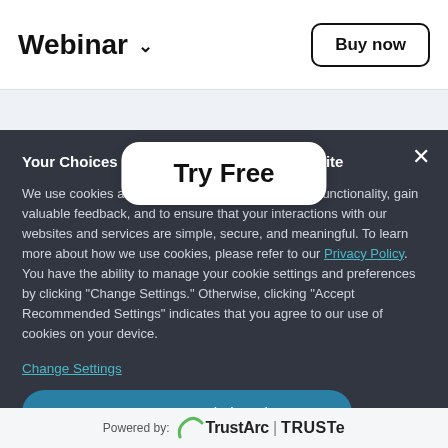Webinar ∨   Buy now
Try Free
Your Choices Regarding Cookies on this Site
We use cookies and other technologies to optimize functionality, gain valuable feedback, and to ensure that your interactions with our websites and services are simple, secure, and meaningful. To learn more about how we use cookies, please refer to our Privacy Policy. You have the ability to manage your cookie settings and preferences by clicking "Change Settings." Otherwise, clicking "Accept Recommended Settings" indicates that you agree to our use of cookies on your device.
Change Settings
Accept Recommended Settings
Powered by: TrustArc | TRUSTe